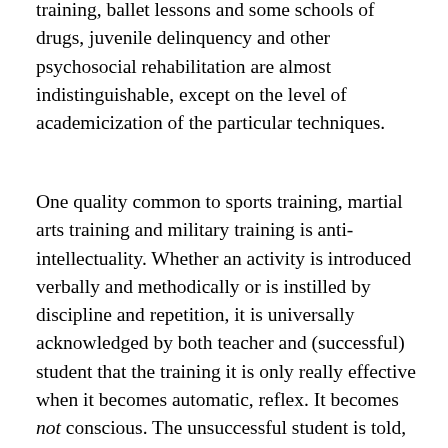training, ballet lessons and some schools of drugs, juvenile delinquency and other psychosocial rehabilitation are almost indistinguishable, except on the level of academicization of the particular techniques.
One quality common to sports training, martial arts training and military training is anti-intellectuality. Whether an activity is introduced verbally and methodically or is instilled by discipline and repetition, it is universally acknowledged by both teacher and (successful) student that the training it is only really effective when it becomes automatic, reflex. It becomes not conscious. The unsuccessful student is told, "You think too much."